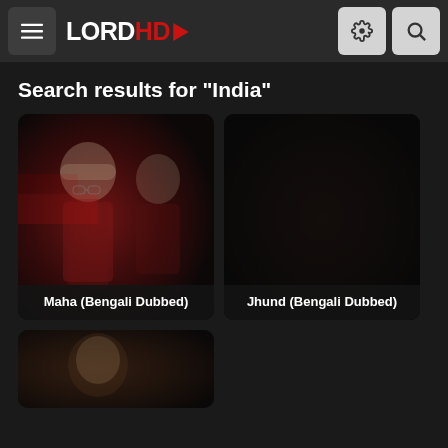LordHD — menu, settings, search icons
Search results for "India"
[Figure (screenshot): Movie card thumbnail for 'Maha (Bengali Dubbed)' — dark red-toned still showing two men, one in white cap and glasses]
Maha (Bengali Dubbed)
[Figure (screenshot): Movie card thumbnail for 'Jhund (Bengali Dubbed)' — dark, mostly black thumbnail]
Jhund (Bengali Dubbed)
[Figure (screenshot): Partial movie card at bottom — dark warm-toned thumbnail, partially visible]